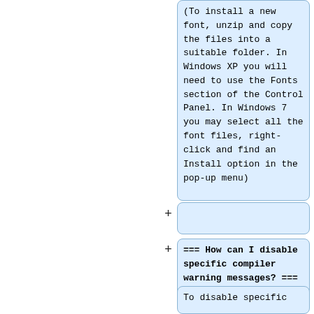(To install a new font, unzip and copy the files into a suitable folder. In Windows XP you will need to use the Fonts section of the Control Panel. In Windows 7 you may select all the font files, right-click and find an Install option in the pop-up menu)
=== How can I disable specific compiler warning messages? ===
To disable specific